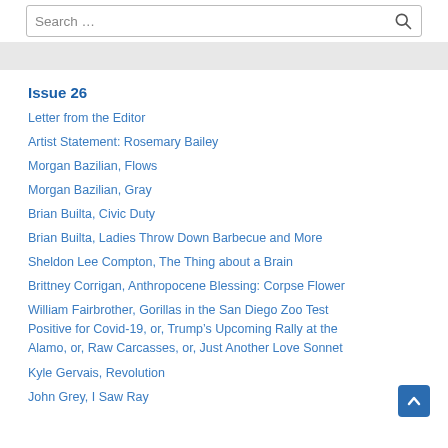Search …
Issue 26
Letter from the Editor
Artist Statement: Rosemary Bailey
Morgan Bazilian, Flows
Morgan Bazilian, Gray
Brian Builta, Civic Duty
Brian Builta, Ladies Throw Down Barbecue and More
Sheldon Lee Compton, The Thing about a Brain
Brittney Corrigan, Anthropocene Blessing: Corpse Flower
William Fairbrother, Gorillas in the San Diego Zoo Test Positive for Covid-19, or, Trump's Upcoming Rally at the Alamo, or, Raw Carcasses, or, Just Another Love Sonnet
Kyle Gervais, Revolution
John Grey, I Saw Ray